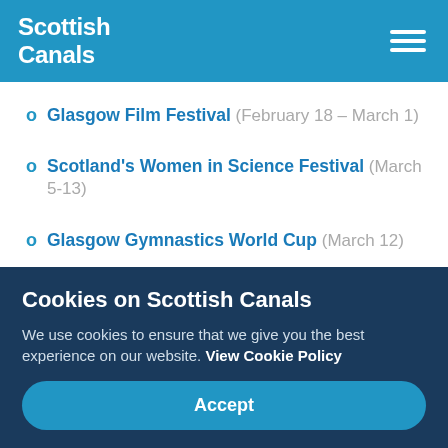Scottish Canals
Glasgow Film Festival (February 18 – March 1)
Scotland's Women in Science Festival (March 5-13)
Glasgow Gymnastics World Cup (March 12)
Cookies on Scottish Canals
We use cookies to ensure that we give you the best experience on our website. View Cookie Policy
Accept